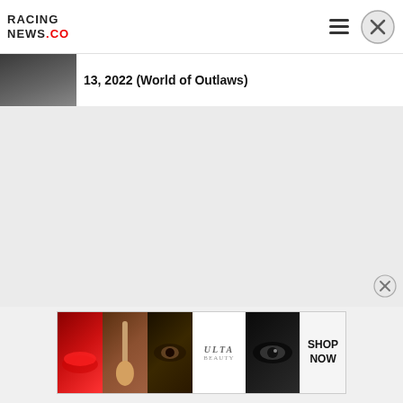RACING NEWS.CO
13, 2022 (World of Outlaws)
[Figure (screenshot): Partial thumbnail image of racing article]
[Figure (infographic): Ulta Beauty advertisement banner with makeup imagery and SHOP NOW call to action]